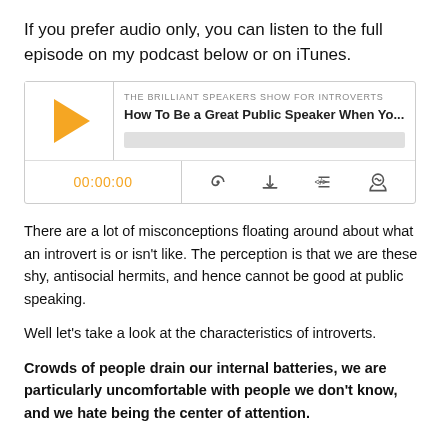If you prefer audio only, you can listen to the full episode on my podcast below or on iTunes.
[Figure (screenshot): Podcast player widget for 'The Brilliant Speakers Show For Introverts' episode titled 'How To Be a Great Public Speaker When Yo...' with a play button, progress bar, time showing 00:00:00, and control icons for RSS, download, embed, and headphones.]
There are a lot of misconceptions floating around about what an introvert is or isn't like. The perception is that we are these shy, antisocial hermits, and hence cannot be good at public speaking.
Well let's take a look at the characteristics of introverts.
Crowds of people drain our internal batteries, we are particularly uncomfortable with people we don't know, and we hate being the center of attention.